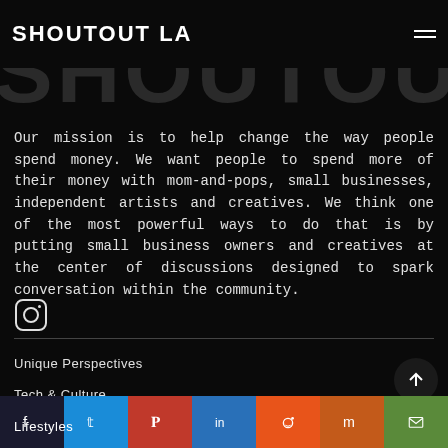SHOUTOUT LA
[Figure (logo): Large faded background SHOUTOUT LA logo text in dark gray]
Our mission is to help change the way people spend money. We want people to spend more of their money with mom-and-pops, small businesses, independent artists and creatives. We think one of the most powerful ways to do that is by putting small business owners and creatives at the center of discussions designed to spark conversation within the community.
[Figure (logo): Instagram icon (rounded square with circle inside)]
Unique Perspectives
Tech & Culture
Lifestyles
Social share bar: Facebook, Twitter, Pinterest, LinkedIn, Reddit, Mix, Email